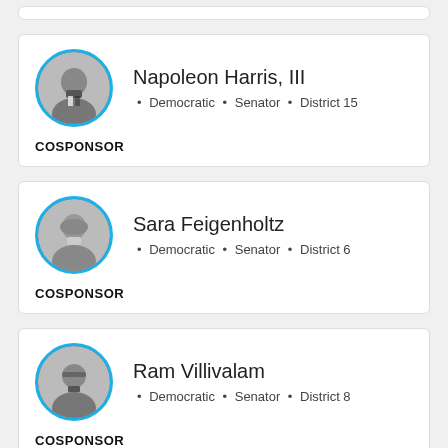[Figure (other): Partial card stub at top of page]
Napoleon Harris, III · Democratic · Senator · District 15 COSPONSOR
Sara Feigenholtz · Democratic · Senator · District 6 COSPONSOR
Ram Villivalam · Democratic · Senator · District 8 COSPONSOR
Mike Si... (partial, cut off)